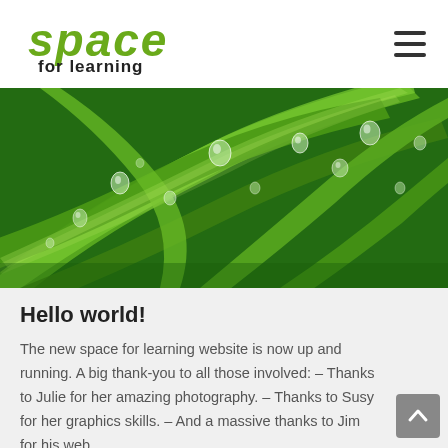space for learning
[Figure (photo): Close-up photograph of green leaves/grass blades with water droplets on them]
Hello world!
The new space for learning website is now up and running. A big thank-you to all those involved: – Thanks to Julie for her amazing photography. – Thanks to Susy for her graphics skills. – And a massive thanks to Jim for his web